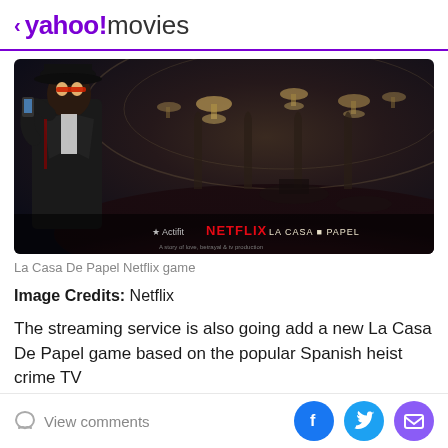< yahoo!movies
[Figure (screenshot): Animated screenshot from La Casa De Papel Netflix game showing an anime-style character in a trenchcoat in a grand casino hall, with Netflix and La Casa de Papel logos at the bottom]
La Casa De Papel Netflix game
Image Credits: Netflix
The streaming service is also going add a new La Casa De Papel game based on the popular Spanish heist crime TV
View comments